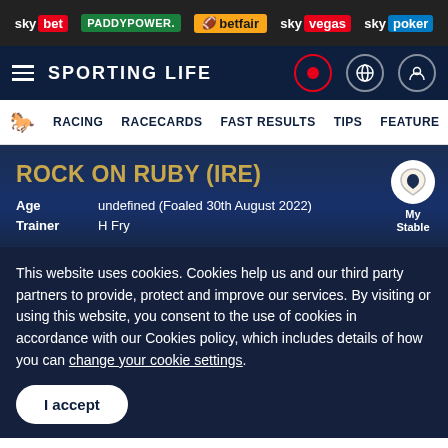sky bet | PADDYPOWER. | betfair | sky vegas | sky poker
SPORTING LIFE
RACING   RACECARDS   FAST RESULTS   TIPS   FEATURE
ROCK ON RUBY (IRE)
Age   undefined (Foaled 30th August 2022)
Trainer   H Fry
My Stable
This website uses cookies. Cookies help us and our third party partners to provide, protect and improve our services. By visiting or using this website, you consent to the use of cookies in accordance with our Cookies policy, which includes details of how you can change your cookie settings.
I accept